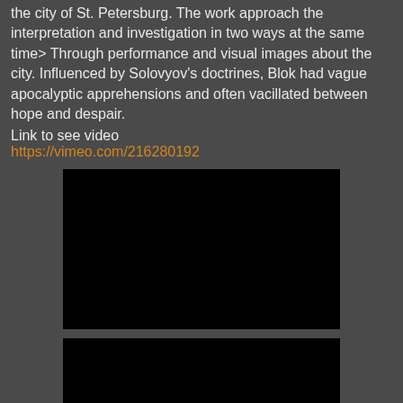the city of St. Petersburg. The work approach the interpretation and investigation in two ways at the same time> Through performance and visual images about the city. Influenced by Solovyov's doctrines, Blok had vague apocalyptic apprehensions and often vacillated between hope and despair.
Link to see video
https://vimeo.com/216280192
[Figure (other): Embedded video player, black rectangle]
[Figure (other): Embedded video player, black rectangle]